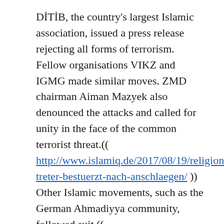DİTİB, the country's largest Islamic association, issued a press release rejecting all forms of terrorism. Fellow organisations VIKZ and IGMG made similar moves. ZMD chairman Aiman Mazyek also denounced the attacks and called for unity in the face of the common terrorist threat.(( http://www.islamiq.de/2017/08/19/religionsvertreter-bestuerzt-nach-anschlaegen/ )) Other Islamic movements, such as the German Ahmadiyya community, followed suit.(( http://www.n-tv.de/politik/Die-Welt-trauert-mit-Barcelona-article19989536.html ))
These routine condemnations did little, however, to conceal the enduring divisions